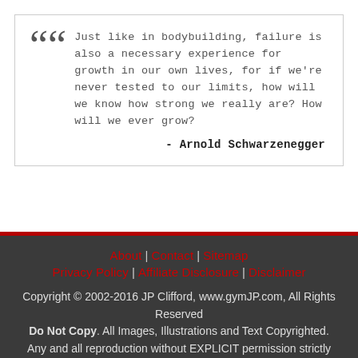Just like in bodybuilding, failure is also a necessary experience for growth in our own lives, for if we're never tested to our limits, how will we know how strong we really are? How will we ever grow? - Arnold Schwarzenegger
About | Contact | Sitemap | Privacy Policy | Affiliate Disclosure | Disclaimer
Copyright © 2002-2016 JP Clifford, www.gymJP.com, All Rights Reserved
Do Not Copy. All Images, Illustrations and Text Copyrighted.
Any and all reproduction without EXPLICIT permission strictly prohibited.